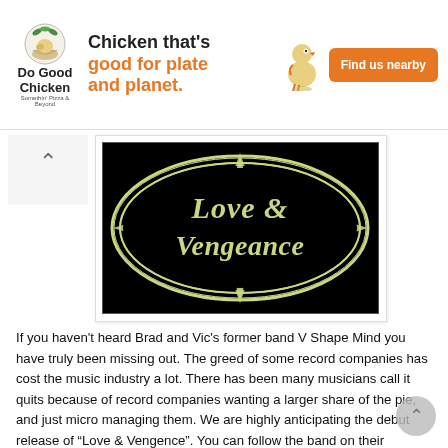[Figure (screenshot): Advertisement banner for 'Do Good Chicken' featuring logo, tagline 'Chicken that's good for plate and planet.' and an orange 'Find us nearby' button]
[Figure (logo): Band logo for 'Love & Vengeance' - black oval with yellow gothic script text and star/arrow design]
If you haven't heard Brad and Vic's former band V Shape Mind you have truly been missing out. The greed of some record companies has cost the music industry a lot. There has been many musicians call it quits because of record companies wanting a larger share of the pie, and just micro managing them. We are highly anticipating the debut release of “Love & Vengence”. You can follow the band on their facebook here.